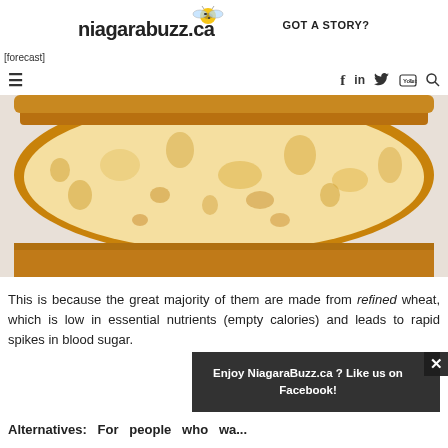niagarabuzz.ca GOT A STORY?
[forecast]
[Figure (other): Navigation bar with hamburger menu icon on left, and social media icons (Facebook f, LinkedIn in, Twitter bird, YouTube, search) on the right]
[Figure (photo): Close-up cross-section of a ciabatta or artisan bread loaf showing airy interior crumb with large irregular holes, golden-brown crust]
This is because the great majority of them are made from refined wheat, which is low in essential nutrients (empty calories) and leads to rapid spikes in blood sugar.
Enjoy NiagaraBuzz.ca ? Like us on Facebook!
Alternatives: For people who wa...